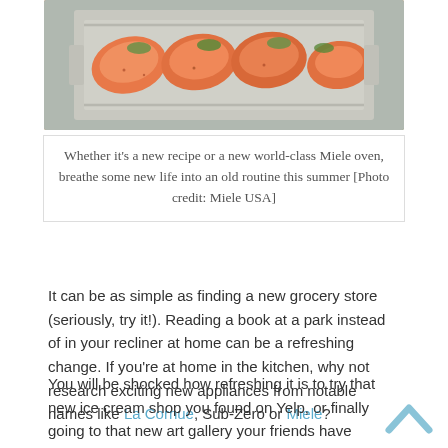[Figure (photo): Salmon fillets with herbs on a baking tray in a Miele oven]
Whether it's a new recipe or a new world-class Miele oven, breathe some new life into an old routine this summer [Photo credit: Miele USA]
It can be as simple as finding a new grocery store (seriously, try it!). Reading a book at a park instead of in your recliner at home can be a refreshing change. If you're at home in the kitchen, why not research exciting new appliances from notable names like La Cornue, Sub-Zero or Miele?
You will be shocked how refreshing it is to try that new ice cream shop you found on Yelp, or finally going to that new art gallery your friends have raved about. Simple changes make a major difference when it comes to daily routine, and